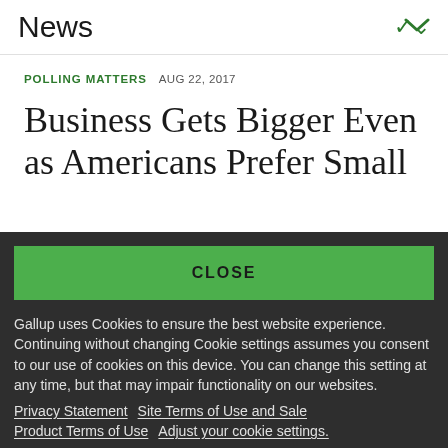News
POLLING MATTERS  AUG 22, 2017
Business Gets Bigger Even as Americans Prefer Small
CLOSE
Gallup uses Cookies to ensure the best website experience. Continuing without changing Cookie settings assumes you consent to our use of cookies on this device. You can change this setting at any time, but that may impair functionality on our websites.
Privacy Statement   Site Terms of Use and Sale
Product Terms of Use   Adjust your cookie settings.